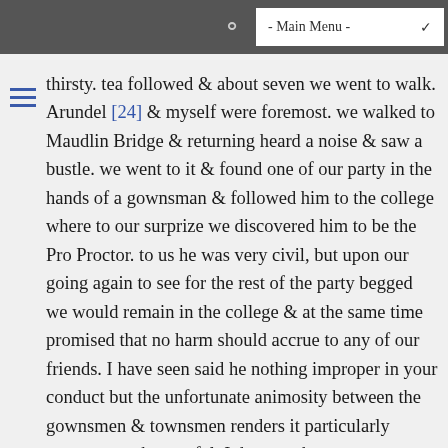- Main Menu -
thirsty. tea followed & about seven we went to walk. Arundel [24] & myself were foremost. we walked to Maudlin Bridge & returning heard a noise & saw a bustle. we went to it & found one of our party in the hands of a gownsman & followed him to the college where to our surprize we discovered him to be the Pro Proctor. to us he was very civil, but upon our going again to see for the rest of the party begged we would remain in the college & at the same time promised that no harm should accrue to any of our friends. I have seen said he nothing improper in your conduct but the unfortunate animosity between the gownsmen & townsmen renders it particularly necessary to be careful. I do not ask your names — in short we went home & I got to bed. this morning I learnt the origin of the whole business. some children were noisy in the street. the Mayor of Oxford & his